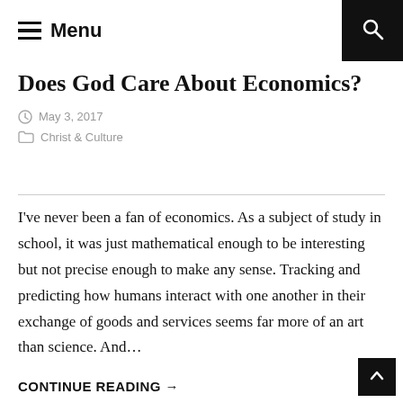Menu
Does God Care About Economics?
May 3, 2017
Christ & Culture
I've never been a fan of economics. As a subject of study in school, it was just mathematical enough to be interesting but not precise enough to make any sense. Tracking and predicting how humans interact with one another in their exchange of goods and services seems far more of an art than science. And...
CONTINUE READING →